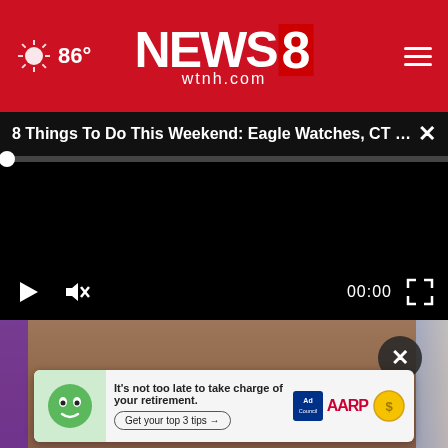86° NEWS 8 wtnh.com
8 Things To Do This Weekend: Eagle Watches, CT W...
[Figure (screenshot): Black video player with progress bar at start, play button, mute button, time display 00:00, and fullscreen button]
[Figure (screenshot): Video still frame showing person's face, with X close button overlay]
[Figure (infographic): AARP advertisement banner: 'It’s not too late to take charge of your retirement. Get your top 3 tips →' with Ad Council badge and AARP logo]